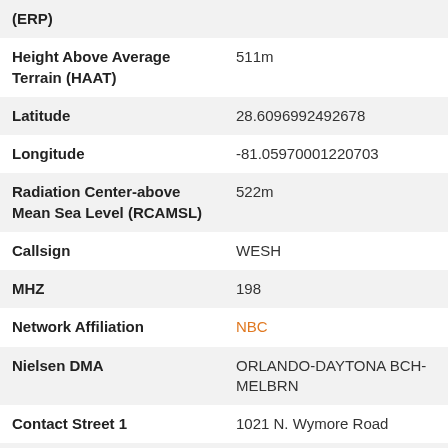| Field | Value |
| --- | --- |
| (ERP) |  |
| Height Above Average Terrain (HAAT) | 511m |
| Latitude | 28.6096992492678 |
| Longitude | -81.05970001220703 |
| Radiation Center-above Mean Sea Level (RCAMSL) | 522m |
| Callsign | WESH |
| MHZ | 198 |
| Network Affiliation | NBC |
| Nielsen DMA | ORLANDO-DAYTONA BCH-MELBRN |
| Contact Street 1 | 1021 N. Wymore Road |
| Contact City | Winter Park |
| Contact State | FL |
| Contact Zip | 32789 |
| Contact Phone | 888-873-0018 |
| Website | wesh.com |